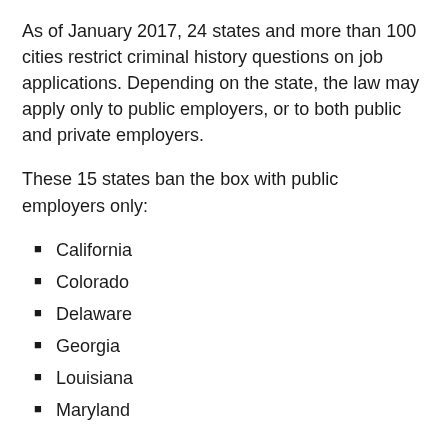As of January 2017, 24 states and more than 100 cities restrict criminal history questions on job applications. Depending on the state, the law may apply only to public employers, or to both public and private employers.
These 15 states ban the box with public employers only:
California
Colorado
Delaware
Georgia
Louisiana
Maryland